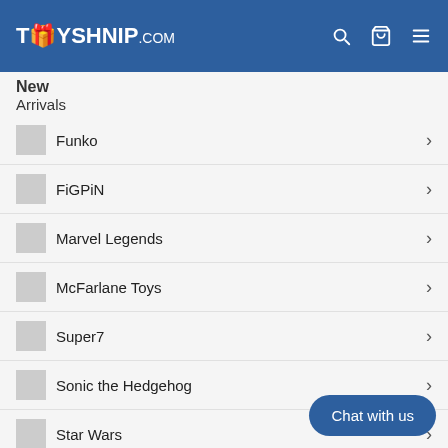TOYSHNIP.com
New Arrivals
Funko
FiGPiN
Marvel Legends
McFarlane Toys
Super7
Sonic the Hedgehog
Star Wars
Masters of the Universe
Heroes of Goo Jit Zu
Chat with us